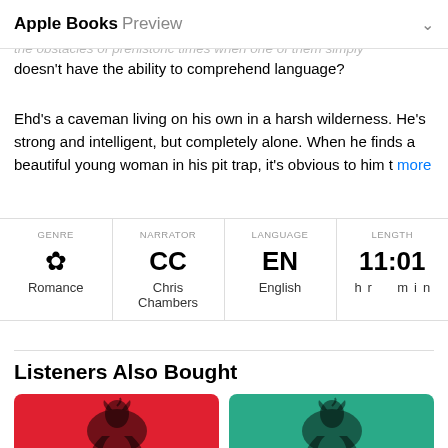Apple Books Preview
It's said that women and men are from two different planets. ation, but how can they overcome the obstacles of prehistoric times when one of them simply doesn't have the ability to comprehend language?
Ehd's a caveman living on his own in a harsh wilderness. He's strong and intelligent, but completely alone. When he finds a beautiful young woman in his pit trap, it's obvious to him t more
| GENRE | NARRATOR | LANGUAGE | LENGTH |
| --- | --- | --- | --- |
| ✿
Romance | CC
Chris Chambers | EN
English | 11:01
hr  min |
Listeners Also Bought
[Figure (illustration): Two book covers for 'A Court Of' series - one with red background and one with teal/green background, both featuring a rooster illustration]